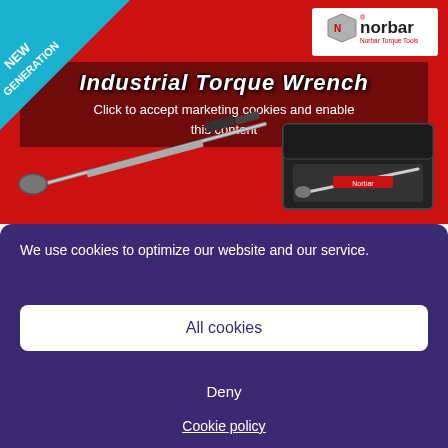[Figure (screenshot): Norbar Industrial Torque Wrench product advertisement on red background with blue 'NEW GENERATION' banner in top-left corner, Norbar logo in top-right, title 'Industrial Torque Wrench' overlaid with cookie consent blocking message, and images of a torque wrench and its carrying case]
Click to accept marketing cookies and enable this content
We use cookies to optimize our website and our service.
All cookies
Deny
Cookie policy